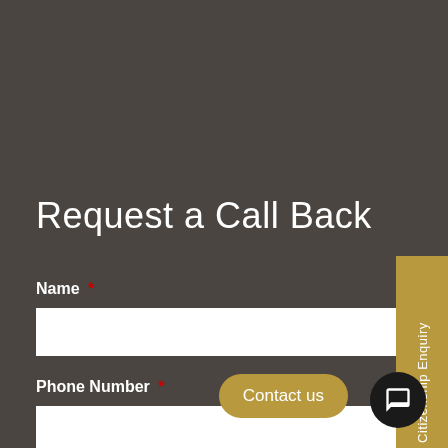Request a Call Back
Name *
Phone Number *
Submit
Citizenship Enquiry
Contact us